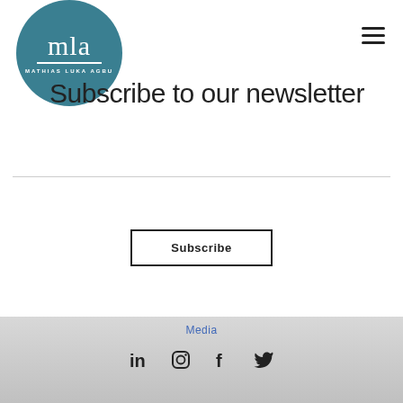[Figure (logo): Circular teal logo with stylized 'mla' script lettering and 'MATHIAS LUKA AGBU' text in white on teal background]
[Figure (other): Hamburger/navigation menu icon (three horizontal lines) in top right corner]
Subscribe to our newsletter
[Figure (other): Horizontal divider line]
Subscribe
Media  LinkedIn  Instagram  Facebook  Twitter social icons